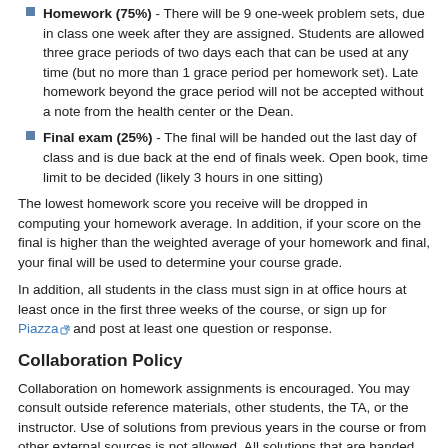Homework (75%) - There will be 9 one-week problem sets, due in class one week after they are assigned. Students are allowed three grace periods of two days each that can be used at any time (but no more than 1 grace period per homework set). Late homework beyond the grace period will not be accepted without a note from the health center or the Dean.
Final exam (25%) - The final will be handed out the last day of class and is due back at the end of finals week. Open book, time limit to be decided (likely 3 hours in one sitting)
The lowest homework score you receive will be dropped in computing your homework average. In addition, if your score on the final is higher than the weighted average of your homework and final, your final will be used to determine your course grade.
In addition, all students in the class must sign in at office hours at least once in the first three weeks of the course, or sign up for Piazza and post at least one question or response.
Collaboration Policy
Collaboration on homework assignments is encouraged. You may consult outside reference materials, other students, the TA, or the instructor. Use of solutions from previous years in the course or from other external sources is not allowed. All solutions that are handed should reflect your understanding of the subject matter at the time of writing.